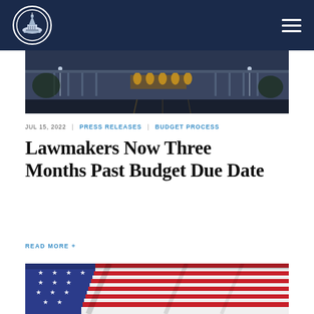Navigation bar with logo and hamburger menu
[Figure (photo): Night view of the U.S. Capitol building exterior with illuminated arched windows, wide steps, and outdoor lighting]
JUL 15, 2022 | PRESS RELEASES | BUDGET PROCESS
Lawmakers Now Three Months Past Budget Due Date
READ MORE +
[Figure (photo): Close-up of an American flag draped in folds, showing red and white stripes and white stars on blue field]